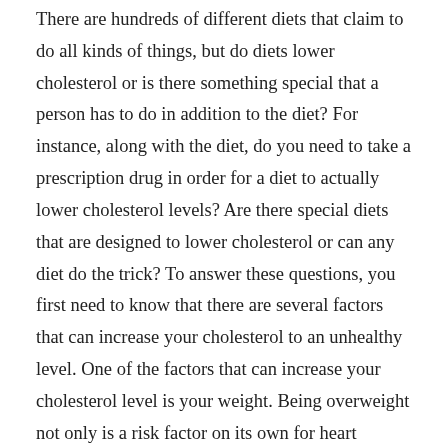There are hundreds of different diets that claim to do all kinds of things, but do diets lower cholesterol or is there something special that a person has to do in addition to the diet? For instance, along with the diet, do you need to take a prescription drug in order for a diet to actually lower cholesterol levels? Are there special diets that are designed to lower cholesterol or can any diet do the trick? To answer these questions, you first need to know that there are several factors that can increase your cholesterol to an unhealthy level. One of the factors that can increase your cholesterol level is your weight. Being overweight not only is a risk factor on its own for heart disease, but also can be a contributing factor to high cholesterol. So, with that in mind, losing weight is a good place to start if you want to lower your cholesterol and also lower your risk for heart disease. In order to lose weight you need to stick to a diet plan that is not only safe, but is also able to lower your